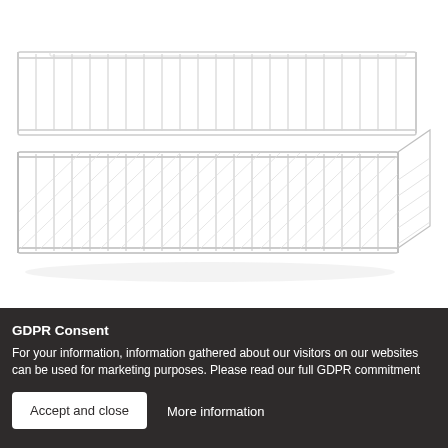[Figure (illustration): A white wire shelf/rack product shown in perspective view, with vertical wire dividers and diagonal hatching pattern on the lower basket portion. The shelf has a top rail section and a lower deep basket section, both in white metal wire construction.]
GDPR Consent
For your information, information gathered about our visitors on our websites can be used for marketing purposes. Please read our full GDPR commitment
Accept and close
More information